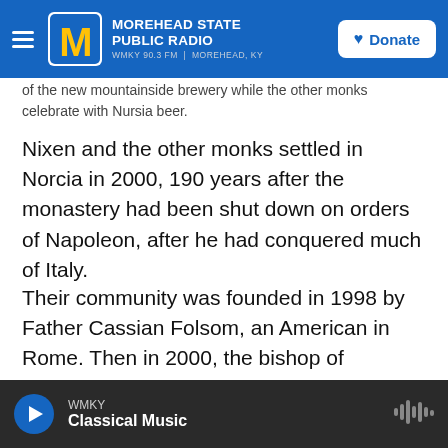Morehead State Public Radio — WMKY 90.3 FM | Morehead, KY
of the new mountainside brewery while the other monks celebrate with Nursia beer.
Nixen and the other monks settled in Norcia in 2000, 190 years after the monastery had been shut down on orders of Napoleon, after he had conquered much of Italy.
Their community was founded in 1998 by Father Cassian Folsom, an American in Rome. Then in 2000, the bishop of Spoleto-Norcia invited the community to come to Norcia and revive the monastery that had been closed two centuries earlier. Today, the community numbers 14 — most
WMKY — Classical Music